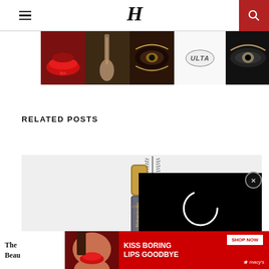H (logo) navigation header with hamburger menu and search button
[Figure (advertisement): Ulta Beauty ad banner with makeup photos (lips, makeup brush, eye makeup) and SHOP NOW call to action]
RELATED POSTS
[Figure (photo): L'Oreal Voluminous Waterproof mascara product photo showing tube with gold cap and wand applicator on light gray background]
[Figure (screenshot): Black panel with spinning circle loader overlay]
The Beau
[Figure (advertisement): Macy's advertisement: KISS BORING LIPS GOODBYE with SHOP NOW button and Macy's star logo, featuring model with red lips]